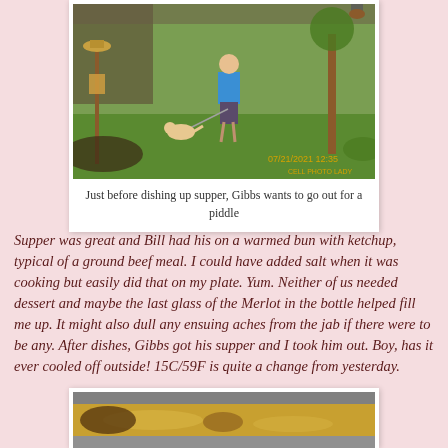[Figure (photo): Outdoor photo of a person in a blue shirt walking a small light-colored dog on a leash in a green yard, with bird feeders and trees visible.]
Just before dishing up supper, Gibbs wants to go out for a piddle
Supper was great and Bill had his on a warmed bun with ketchup, typical of a ground beef meal. I could have added salt when it was cooking but easily did that on my plate. Yum. Neither of us needed dessert and maybe the last glass of the Merlot in the bottle helped fill me up. It might also dull any ensuing aches from the jab if there were to be any. After dishes, Gibbs got his supper and I took him out. Boy, has it ever cooled off outside! 15C/59F is quite a change from yesterday.
[Figure (photo): Close-up photo of food cooking in a pan, showing golden/yellow coloured liquid or broth.]